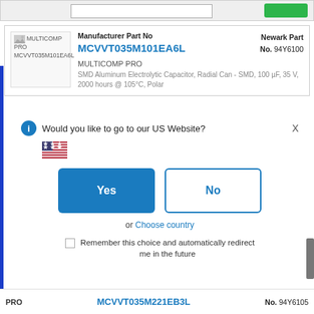[Figure (screenshot): Top navigation bar with search input and green button]
[Figure (photo): MULTICOMP PRO MCVVT035M101EA6L product image placeholder]
Manufacturer Part No
MCVVT035M101EA6L
Newark Part No. 94Y6100
MULTICOMP PRO
SMD Aluminum Electrolytic Capacitor, Radial Can - SMD, 100 µF, 35 V, 2000 hours @ 105°C, Polar
Would you like to go to our US Website?
[Figure (illustration): US flag emoji]
Yes
No
or Choose country
Remember this choice and automatically redirect me in the future
PRO
MCVVT035M221EB3L
No. 94Y6105